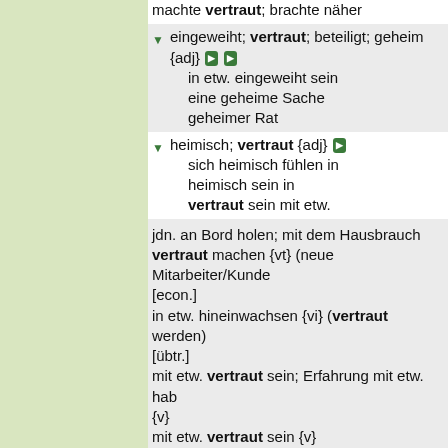machte vertraut; brachte näher
eingeweiht; vertraut; beteiligt; geheim {adj} [audio] [audio]
in etw. eingeweiht sein
eine geheime Sache
geheimer Rat
heimisch; vertraut {adj} [audio]
sich heimisch fühlen in
heimisch sein in
vertraut sein mit etw.
jdn. an Bord holen; mit dem Hausbrauch vertraut machen {vt} (neue Mitarbeiter/Kunde [econ.]
in etw. hineinwachsen {vi} (vertraut werden) [übtr.]
mit etw. vertraut sein; Erfahrung mit etw. hab {v}
mit etw. vertraut sein {v}
Ich wurde vertraut mit ihm.
sich wieder (mit jdm./etw.) vertraut machen;
sich wieder (mit jdm.) bekannt machen {vr}
wieder vertraut (gemacht); wieder bekannt (gemacht); (Bekannschaft) erneuert
eng {adv}; vertraut {adv}; intim {adv} [audio] [audio]
Arbeitsablauf {m}; Ablauf {m}; Arbeitsvorgang {m}; (aktiver) Vorgang [audio] [audio]